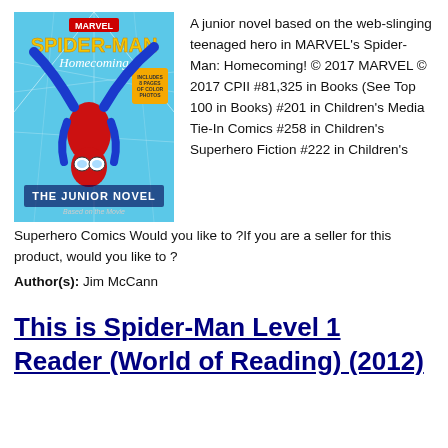[Figure (illustration): Book cover for Marvel Spider-Man Homecoming: The Junior Novel. Spider-Man in red and blue suit hanging upside down against a blue web background. Yellow Spider-Man logo at top, 'THE JUNIOR NOVEL' text at bottom.]
A junior novel based on the web-slinging teenaged hero in MARVEL's Spider-Man: Homecoming! © 2017 MARVEL © 2017 CPII #81,325 in Books (See Top 100 in Books) #201 in Children's Media Tie-In Comics #258 in Children's Superhero Fiction #222 in Children's Superhero Comics Would you like to ?If you are a seller for this product, would you like to ?
Author(s): Jim McCann
This is Spider-Man Level 1 Reader (World of Reading) (2012)